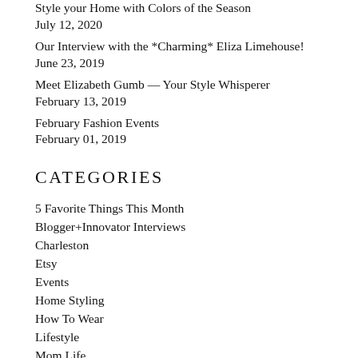Style your Home with Colors of the Season
July 12, 2020
Our Interview with the *Charming* Eliza Limehouse!
June 23, 2019
Meet Elizabeth Gumb — Your Style Whisperer
February 13, 2019
February Fashion Events
February 01, 2019
CATEGORIES
5 Favorite Things This Month
Blogger+Innovator Interviews
Charleston
Etsy
Events
Home Styling
How To Wear
Lifestyle
Mom Life
Natural Beauty
Organization
Style Inspo